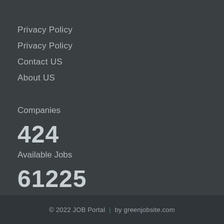Privacy Policy
Privacy Policy
Contact US
About US
Companies
424
Available Jobs
61225
© 2022 JOB Portal | by greenjobsite.com